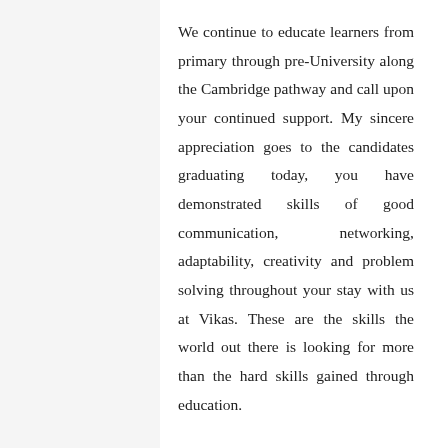We continue to educate learners from primary through pre-University along the Cambridge pathway and call upon your continued support. My sincere appreciation goes to the candidates graduating today, you have demonstrated skills of good communication, networking, adaptability, creativity and problem solving throughout your stay with us at Vikas. These are the skills the world out there is looking for more than the hard skills gained through education.
Preserve and defend those skills jealously and appreciate the fact that you are unique and there by demonstrate that the...